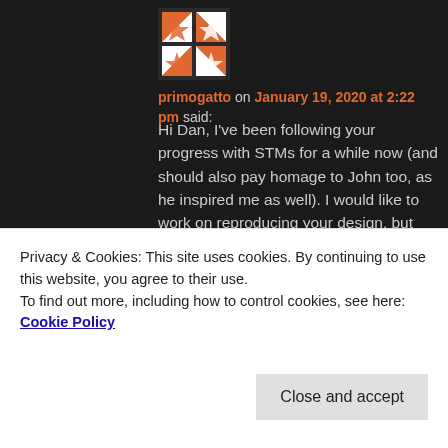[Figure (illustration): User avatar: quilt-pattern icon with orange and white geometric shapes on dark background]
primogatto on January 19, 2020 at 2:22 pm said:
Hi Dan, I've been following your progress with STMs for a while now (and should also pay homage to John too, as he inspired me as well). I would like to work on reproducing your design, but unfortunately I've not found an affordable way to work with Altium Designer files. Does Altium Designer give you a convenient way to convert schematics to a format that can be opened in KiCAD? It would make it much easier for me to follow along if this is possible. Thanks again. Tom
Privacy & Cookies: This site uses cookies. By continuing to use this website, you agree to their use.
To find out more, including how to control cookies, see here: Cookie Policy
Close and accept